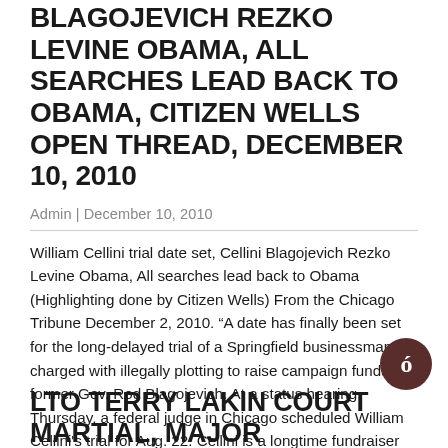BLAGOJEVICH REZKO LEVINE OBAMA, ALL SEARCHES LEAD BACK TO OBAMA, CITIZEN WELLS OPEN THREAD, DECEMBER 10, 2010
Admin | December 10, 2010
William Cellini trial date set, Cellini Blagojevich Rezko Levine Obama, All searches lead back to Obama (Highlighting done by Citizen Wells) From the Chicago Tribune December 2, 2010. “A date has finally been set for the long-delayed trial of a Springfield businessman charged with illegally plotting to raise campaign funds for former Gov. Rod Blagojevich. At a status hearing Thursday, a federal judge in Chicago scheduled William Cellini's trial for Aug. 22. Cellini is a longtime fundraiser and behind-the-scenes power broker in Illinois politics.” http://www.chicagotribune.com/news/local/sns-ap-il–cellinitrial,0,6721744.story All searches lead back to
READ MORE ›
LTO TERRY LAKIN COURT MARTIAL, MAJOR